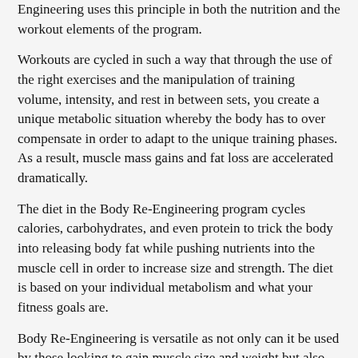Engineering uses this principle in both the nutrition and the workout elements of the program.
Workouts are cycled in such a way that through the use of the right exercises and the manipulation of training volume, intensity, and rest in between sets, you create a unique metabolic situation whereby the body has to over compensate in order to adapt to the unique training phases. As a result, muscle mass gains and fat loss are accelerated dramatically.
The diet in the Body Re-Engineering program cycles calories, carbohydrates, and even protein to trick the body into releasing body fat while pushing nutrients into the muscle cell in order to increase size and strength. The diet is based on your individual metabolism and what your fitness goals are.
Body Re-Engineering is versatile as not only can it be used by those looking to gain muscle size and weight but also by the more casual lifter simply looking to lose fat, harden up and tone to look good for the beach. And best of all, it works equally well for men and women of any age and results are guaranteed regardless of genetics.
As you can see from the pictures of me as a kid on my losefatandgainmuscle.com site, I had terrible genetics; I was overweight and then something else had to do the job if one